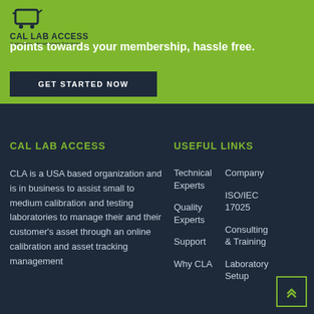[Figure (logo): Cal Lab Access logo with icon, 'CAL LAB ACCESS' text and 'Laboratory Management Solutions' tagline]
points towards your membership, hassle free.
GET STARTED NOW
CAL LAB ACCESS
CLA is a USA based organization and is in business to assist small to medium calibration and testing laboratories to manage their and their customer's asset through an online calibration and asset tracking management system.
USEFUL LINKS
Technical Experts
Company
Quality Experts
ISO/IEC 17025
Support
Consulting & Training
Why CLA
Laboratory Setup